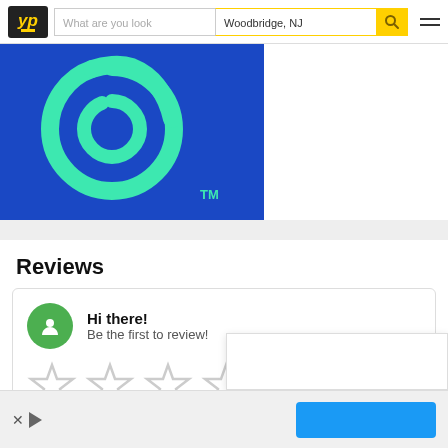YP | What are you look | Woodbridge, NJ
[Figure (logo): Blue background with large teal/green swirl logo mark and TM symbol]
Reviews
Hi there! Be the first to review!
[Figure (other): Five empty star rating icons in a row]
[Figure (other): Close button (X in circle)]
[Figure (other): Blue button in ad bar at bottom right]
Ad area with X and play icons